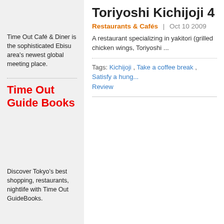Time Out Café & Diner is the sophisticated Ebisu area's newest global meeting place.
Time Out Guide Books
Discover Tokyo's best shopping, restaurants, nightlife with Time Out GuideBooks.
Toriyoshi Kichijoji 4
Restaurants & Cafés  |  Oct 10 2009
A restaurant specializing in yakitori (grilled chicken … chicken wings, Toriyoshi ...
Tags: Kichijoji , Take a coffee break , Satisfy a hung… Review